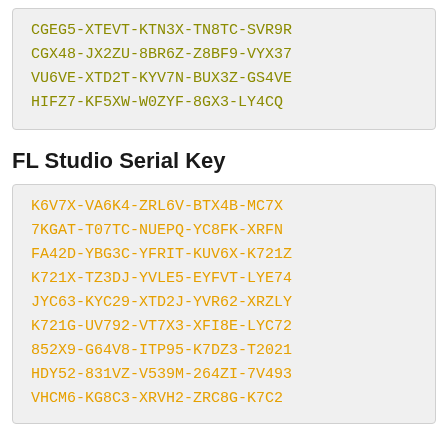CGEG5-XTEVT-KTN3X-TN8TC-SVR9R
CGX48-JX2ZU-8BR6Z-Z8BF9-VYX37
VU6VE-XTD2T-KYV7N-BUX3Z-GS4VE
HIFZ7-KF5XW-W0ZYF-8GX3-LY4CQ
FL Studio Serial Key
K6V7X-VA6K4-ZRL6V-BTX4B-MC7X
7KGAT-T07TC-NUEPQ-YC8FK-XRFN
FA42D-YBG3C-YFRIT-KUV6X-K721Z
K721X-TZ3DJ-YVLE5-EYFVT-LYE74
JYC63-KYC29-XTD2J-YVR62-XRZLY
K721G-UV792-VT7X3-XFI8E-LYC72
852X9-G64V8-ITP95-K7DZ3-T2021
HDY52-831VZ-V539M-264ZI-7V493
VHCM6-KG8C3-XRVH2-ZRC8G-K7C2